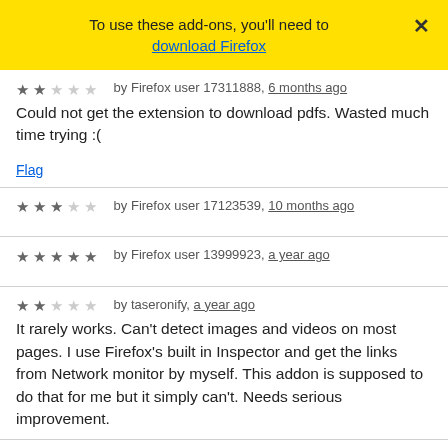To use these add-ons, you'll need to download Firefox
by Firefox user 17311888, 6 months ago
Could not get the extension to download pdfs. Wasted much time trying :(
Flag
by Firefox user 17123539, 10 months ago
by Firefox user 13999923, a year ago
by taseronify, a year ago
It rarely works. Can't detect images and videos on most pages. I use Firefox's built in Inspector and get the links from Network monitor by myself. This addon is supposed to do that for me but it simply can't. Needs serious improvement.